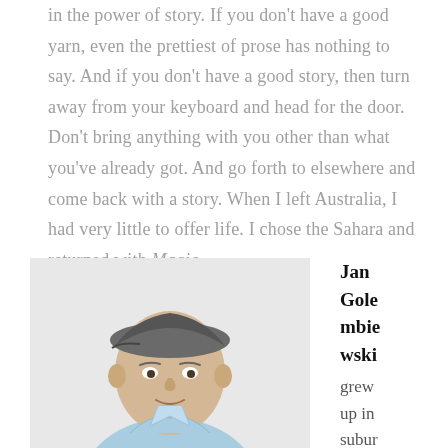in the power of story. If you don't have a good yarn, even the prettiest of prose has nothing to say. And if you don't have a good story, then turn away from your keyboard and head for the door. Don't bring anything with you other than what you've already got. And go forth to elsewhere and come back with a story. When I left Australia, I had very little to offer life. I chose the Sahara and returned with Magic.
[Figure (photo): Portrait photo of Jan Golembiewski, a bald man wearing a grey flat cap and light blue shirt, smiling, photographed against a white background.]
Jan Golembiewski grew up in suburban